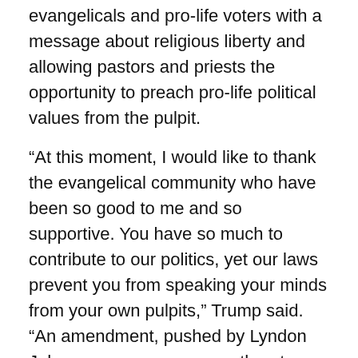evangelicals and pro-life voters with a message about religious liberty and allowing pastors and priests the opportunity to preach pro-life political values from the pulpit.
“At this moment, I would like to thank the evangelical community who have been so good to me and so supportive. You have so much to contribute to our politics, yet our laws prevent you from speaking your minds from your own pulpits,” Trump said. “An amendment, pushed by Lyndon Johnson, many years ago, threatens religious institutions with a loss of their tax-exempt status if they openly advocate their political views. I am going to work very hard to repeal